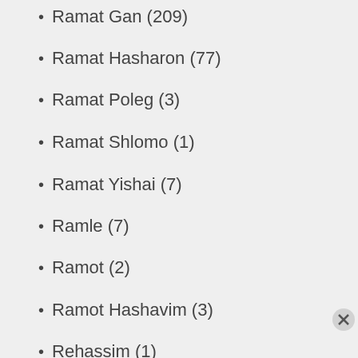Ramat Gan (209)
Ramat Hasharon (77)
Ramat Poleg (3)
Ramat Shlomo (1)
Ramat Yishai (7)
Ramle (7)
Ramot (2)
Ramot Hashavim (3)
Rehassim (1)
Rehovot (130)
Reut (6)
Rishon Lezion (167)
Rosh Haayin (12)
Rosh Pina (2)
Advertisements
[Figure (illustration): Day One journaling app advertisement banner with blue background, app icons, and text: The only journaling app you'll ever need.]